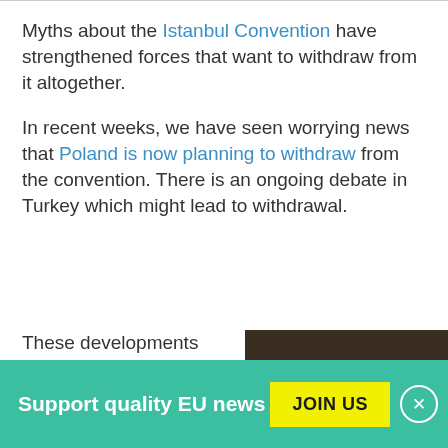Myths about the Istanbul Convention have strengthened forces that want to withdraw from it altogether.
In recent weeks, we have seen worrying news that Poland is now planning to withdraw from the convention. There is an ongoing debate in Turkey which might lead to withdrawal.
These developments puts women's safety at high risk.
[Figure (photo): A close-up photograph of a raised clenched fist against a dark background, symbolizing strength or resistance.]
Support quality EU news